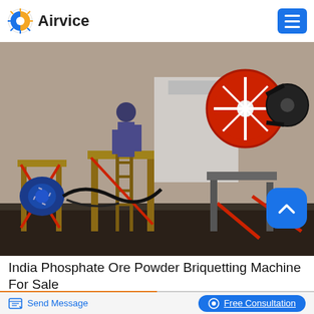Airvice
[Figure (photo): Industrial briquetting/crushing machine on a metal frame structure outdoors. A worker is visible near the machine. The machine has a large red flywheel, blue electric motor, and red support bars on a steel frame with ladders.]
India Phosphate Ore Powder Briquetting Machine For Sale
Send Message
Free Consultation